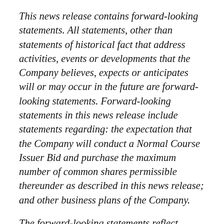This news release contains forward-looking statements. All statements, other than statements of historical fact that address activities, events or developments that the Company believes, expects or anticipates will or may occur in the future are forward-looking statements. Forward-looking statements in this news release include statements regarding: the expectation that the Company will conduct a Normal Course Issuer Bid and purchase the maximum number of common shares permissible thereunder as described in this news release; and other business plans of the Company.
The forward-looking statements reflect